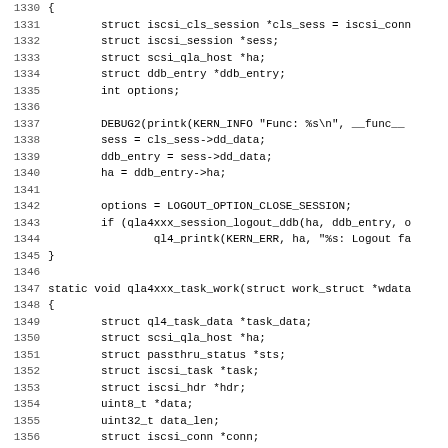[Figure (screenshot): Source code listing in monospace font showing C code for Linux kernel iSCSI/QLA4xxx driver, lines 1330-1362, including struct declarations, DEBUG2 macro, session logout logic, and qla4xxx_task_work function definition with variable declarations and container_of call.]